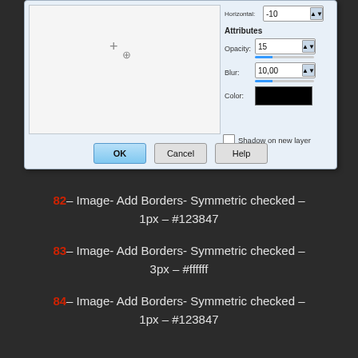[Figure (screenshot): Dialog box showing drop shadow settings with Attributes section (Opacity: 15, Blur: 10.00, Color: black), a preview panel with crosshair cursor, a 'Shadow on new layer' checkbox, and OK/Cancel/Help buttons]
82– Image- Add Borders- Symmetric checked – 1px – #123847
83– Image- Add Borders- Symmetric checked – 3px – #ffffff
84– Image- Add Borders- Symmetric checked – 1px – #123847